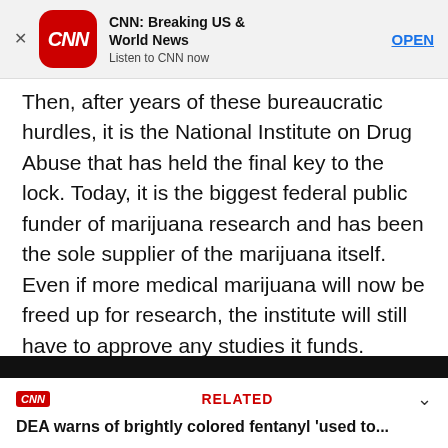[Figure (screenshot): CNN app advertisement banner with CNN logo, title 'CNN: Breaking US & World News', subtitle 'Listen to CNN now', and OPEN button]
Then, after years of these bureaucratic hurdles, it is the National Institute on Drug Abuse that has held the final key to the lock. Today, it is the biggest federal public funder of marijuana research and has been the sole supplier of the marijuana itself. Even if more medical marijuana will now be freed up for research, the institute will still have to approve any studies it funds.

The problem, however, is that last word in NIDA's name: “abuse.”
[Figure (screenshot): CNN related article box with dark header bar, CNN logo in red, RELATED label in red, chevron, and headline: DEA warns of brightly colored fentanyl 'used to...]